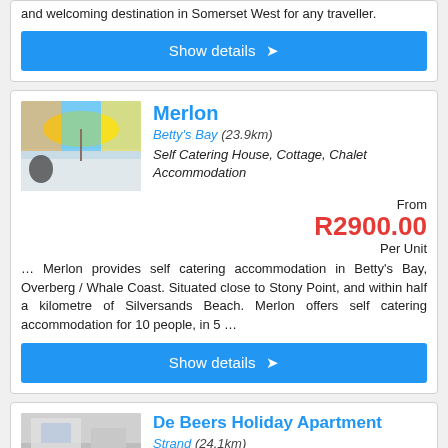and welcoming destination in Somerset West for any traveller.
[Figure (screenshot): Blue 'Show details >' button]
Merlon
Betty's Bay (23.9km)
Self Catering House, Cottage, Chalet Accommodation
From R2900.00 Per Unit
… Merlon provides self catering accommodation in Betty's Bay, Overberg / Whale Coast. Situated close to Stony Point, and within half a kilometre of Silversands Beach. Merlon offers self catering accommodation for 10 people, in 5 …
[Figure (screenshot): Blue 'Show details >' button]
De Beers Holiday Apartment
Strand (24.1km)